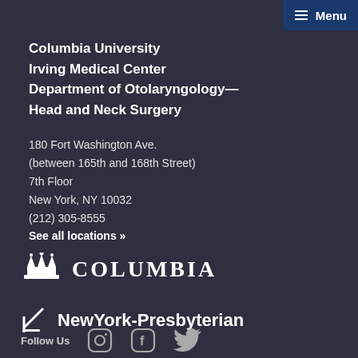Menu
Columbia University Irving Medical Center Department of Otolaryngology—Head and Neck Surgery
180 Fort Washington Ave.
(between 165th and 168th Street)
7th Floor
New York, NY 10032
(212) 305-8555
See all locations »
[Figure (logo): Columbia University crown logo with COLUMBIA text in serif uppercase]
[Figure (logo): NewYork-Presbyterian logo with stylized arrow/bracket mark]
Follow Us